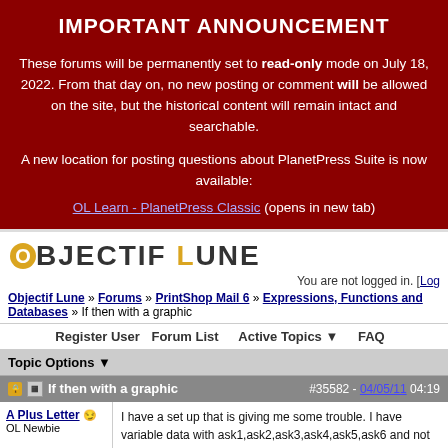IMPORTANT ANNOUNCEMENT
These forums will be permanently set to read-only mode on July 18, 2022. From that day on, no new posting or comment will be allowed on the site, but the historical content will remain intact and searchable.
A new location for posting questions about PlanetPress Suite is now available:
OL Learn - PlanetPress Classic (opens in new tab)
[Figure (logo): Objectif Lune logo with orange O circle and orange L letter]
You are not logged in. [Log
Objectif Lune » Forums » PrintShop Mail 6 » Expressions, Functions and Databases » If then with a graphic
Register User   Forum List   Active Topics ▼   FAQ
Topic Options ▼
If then with a graphic
#35582 - 04/05/11 04:19
A Plus Letter
OL Newbie
I have a set up that is giving me some trouble. I have variable data with ask1,ask2,ask3,ask4,ask5,ask6 and not all the time are all of these fields filled. So when they are populated I need to put a box in front of each ask as if they are going to check